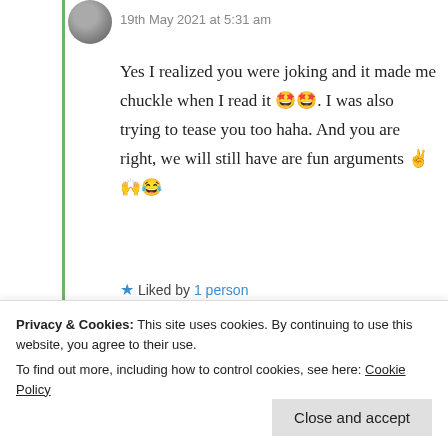19th May 2021 at 5:31 am
Yes I realized you were joking and it made me chuckle when I read it 🤩🤩. I was also trying to tease you too haha. And you are right, we will still have are fun arguments ✌🙌😂
★ Liked by 1 person
Log in to Reply
Privacy & Cookies: This site uses cookies. By continuing to use this website, you agree to their use.
To find out more, including how to control cookies, see here: Cookie Policy
Close and accept
5:33 am